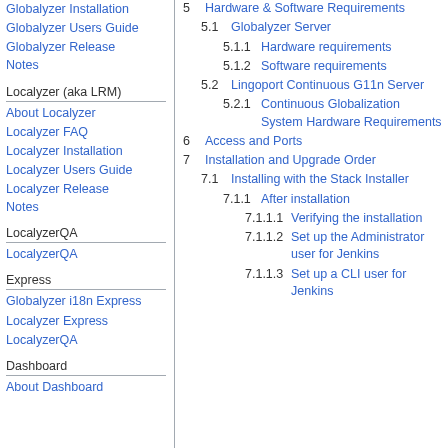Globalyzer Installation
Globalyzer Users Guide
Globalyzer Release Notes
Localyzer (aka LRM)
About Localyzer
Localyzer FAQ
Localyzer Installation
Localyzer Users Guide
Localyzer Release Notes
LocalyzerQA
LocalyzerQA
Express
Globalyzer i18n Express
Localyzer Express
LocalyzerQA
Dashboard
About Dashboard
5  Hardware & Software Requirements
5.1  Globalyzer Server
5.1.1  Hardware requirements
5.1.2  Software requirements
5.2  Lingoport Continuous G11n Server
5.2.1  Continuous Globalization System Hardware Requirements
6  Access and Ports
7  Installation and Upgrade Order
7.1  Installing with the Stack Installer
7.1.1  After installation
7.1.1.1  Verifying the installation
7.1.1.2  Set up the Administrator user for Jenkins
7.1.1.3  Set up a CLI user for Jenkins